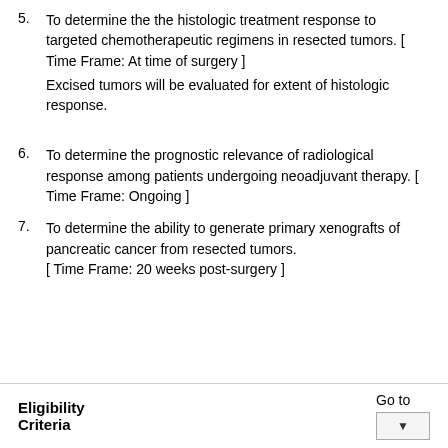5. To determine the the histologic treatment response to targeted chemotherapeutic regimens in resected tumors. [ Time Frame: At time of surgery ]
Excised tumors will be evaluated for extent of histologic response.
6. To determine the prognostic relevance of radiological response among patients undergoing neoadjuvant therapy. [ Time Frame: Ongoing ]
7. To determine the ability to generate primary xenografts of pancreatic cancer from resected tumors. [ Time Frame: 20 weeks post-surgery ]
Eligibility Criteria
Go to